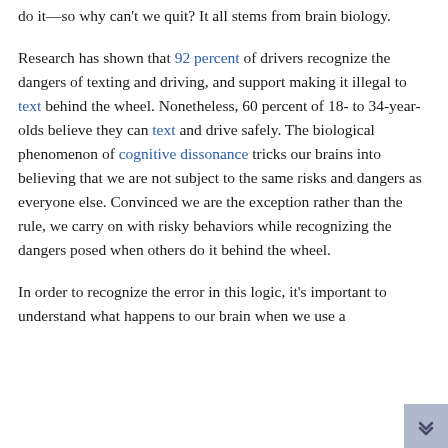do it—so why can't we quit? It all stems from brain biology.
Research has shown that 92 percent of drivers recognize the dangers of texting and driving, and support making it illegal to text behind the wheel. Nonetheless, 60 percent of 18- to 34-year-olds believe they can text and drive safely. The biological phenomenon of cognitive dissonance tricks our brains into believing that we are not subject to the same risks and dangers as everyone else. Convinced we are the exception rather than the rule, we carry on with risky behaviors while recognizing the dangers posed when others do it behind the wheel.
In order to recognize the error in this logic, it's important to understand what happens to our brain when we use a mobile phone. According to behavioral health studies,